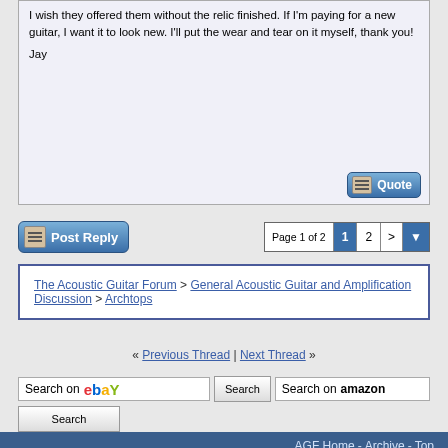I wish they offered them without the relic finished. If I'm paying for a new guitar, I want it to look new. I'll put the wear and tear on it myself, thank you!

Jay
Post Reply
Page 1 of 2  1  2  >
The Acoustic Guitar Forum > General Acoustic Guitar and Amplification Discussion > Archtops
« Previous Thread | Next Thread »
Search on eBay  Search  Search on amazon  Search
All times are GMT -6. The time now is 04:12 AM.
AGF Home - Archive - Top
Powered by vBulletin® Version 3.8.11
Copyright ©2000 - 2022, vBulletin Solutions Inc.
Copyright ©2000 - 2022, The Acoustic Guitar Forum
vB Ad Management by =RedTyger=